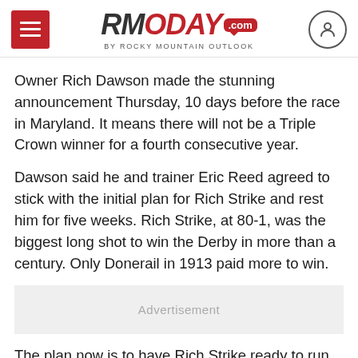RMOTODAY.com BY ROCKY MOUNTAIN OUTLOOK
Owner Rich Dawson made the stunning announcement Thursday, 10 days before the race in Maryland. It means there will not be a Triple Crown winner for a fourth consecutive year.
Dawson said he and trainer Eric Reed agreed to stick with the initial plan for Rich Strike and rest him for five weeks. Rich Strike, at 80-1, was the biggest long shot to win the Derby in more than a century. Only Donerail in 1913 paid more to win.
Advertisement
The plan now is to have Rich Strike ready to run in the Belmont Stakes on June 11. Dawson said it was best for